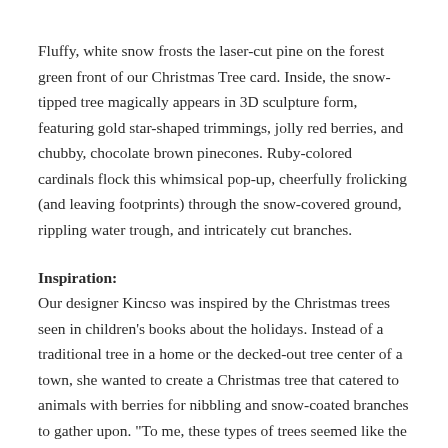Fluffy, white snow frosts the laser-cut pine on the forest green front of our Christmas Tree card. Inside, the snow-tipped tree magically appears in 3D sculpture form, featuring gold star-shaped trimmings, jolly red berries, and chubby, chocolate brown pinecones. Ruby-colored cardinals flock this whimsical pop-up, cheerfully frolicking (and leaving footprints) through the snow-covered ground, rippling water trough, and intricately cut branches.
Inspiration:
Our designer Kincso was inspired by the Christmas trees seen in children's books about the holidays. Instead of a traditional tree in a home or the decked-out tree center of a town, she wanted to create a Christmas tree that catered to animals with berries for nibbling and snow-coated branches to gather upon. "To me, these types of trees seemed like the more